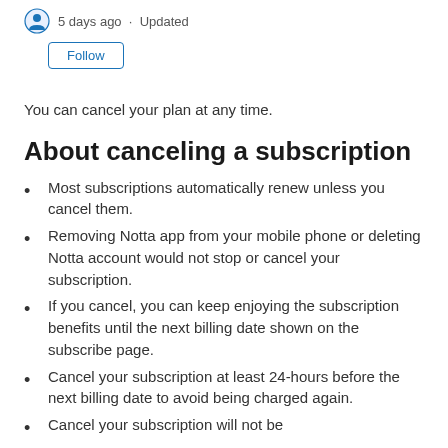5 days ago · Updated
Follow
You can cancel your plan at any time.
About canceling a subscription
Most subscriptions automatically renew unless you cancel them.
Removing Notta app from your mobile phone or deleting Notta account would not stop or cancel your subscription.
If you cancel, you can keep enjoying the subscription benefits until the next billing date shown on the subscribe page.
Cancel your subscription at least 24-hours before the next billing date to avoid being charged again.
Cancel your subscription will not be